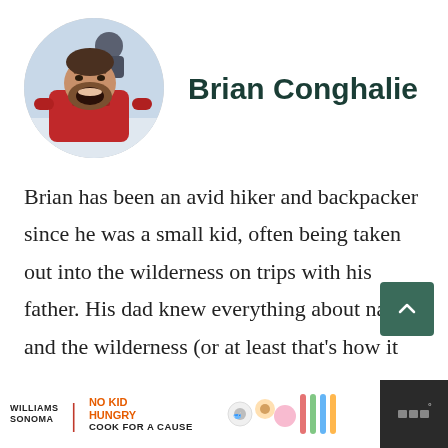[Figure (photo): Circular avatar photo of Brian Conghalie, a man with beard shouting/laughing wearing red jacket, with another person visible behind him in winter outdoor setting]
Brian Conghalie
Brian has been an avid hiker and backpacker since he was a small kid, often being taken out into the wilderness on trips with his father. His dad knew everything about nature and the wilderness (or at least that's how it
[Figure (photo): Williams Sonoma No Kid Hungry Cook for a Cause advertisement banner at bottom of page with colorful baking-themed imagery]